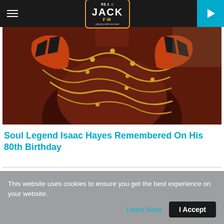93.1 JACK FM
[Figure (photo): A muscular person wearing gold chains and orange/black patterned outfit — partial torso shot]
Soul Legend Isaac Hayes Remembered On His 80th Birthday
This website uses cookies to ensure you get the best experience on your website.
Learn More | I Accept